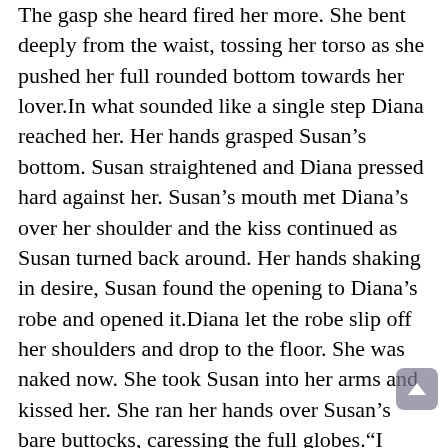The gasp she heard fired her more. She bent deeply from the waist, tossing her torso as she pushed her full rounded bottom towards her lover.In what sounded like a single step Diana reached her. Her hands grasped Susan's bottom. Susan straightened and Diana pressed hard against her. Susan's mouth met Diana's over her shoulder and the kiss continued as Susan turned back around. Her hands shaking in desire, Susan found the opening to Diana's robe and opened it.Diana let the robe slip off her shoulders and drop to the floor. She was naked now. She took Susan into her arms and kissed her. She ran her hands over Susan's bare buttocks, caressing the full globes.“I bought a toy,” Diana said.Susan’s hands were on Diana's breasts, her fingers tugging at Diana's nipples. “A toy?”Diana slipped out of Susan's arms and went to the dresser. She opened the box she had brought and then held up the life-like phallus and the attached